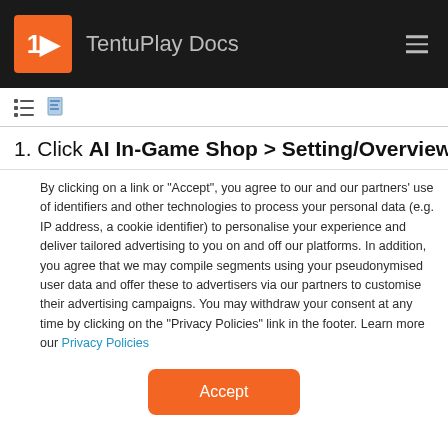TentuPlay Docs
1. Click AI In-Game Shop > Setting/Overview in
By clicking on a link or "Accept", you agree to our and our partners' use of identifiers and other technologies to process your personal data (e.g. IP address, a cookie identifier) to personalise your experience and deliver tailored advertising to you on and off our platforms. In addition, you agree that we may compile segments using your pseudonymised user data and offer these to advertisers via our partners to customise their advertising campaigns. You may withdraw your consent at any time by clicking on the "Privacy Policies" link in the footer. Learn more our Privacy Policies